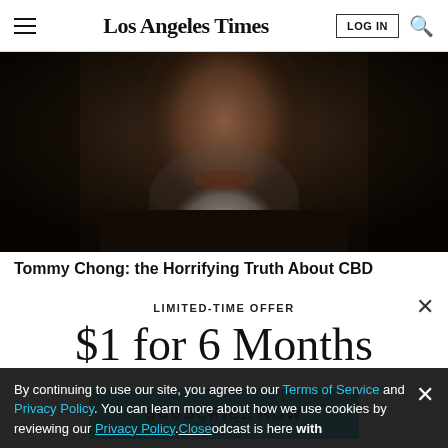Los Angeles Times
[Figure (photo): Close-up photo of an older man with a white beard and mustache, in low-key dramatic lighting against a dark background.]
Tommy Chong: the Horrifying Truth About CBD
LIMITED-TIME OFFER
$1 for 6 Months
SUBSCRIBE NOW
By continuing to use our site, you agree to our Terms of Service and Privacy Policy. You can learn more about how we use cookies by reviewing our Privacy Policy. Close
Season 3 of The Times' go-to podcast is here with